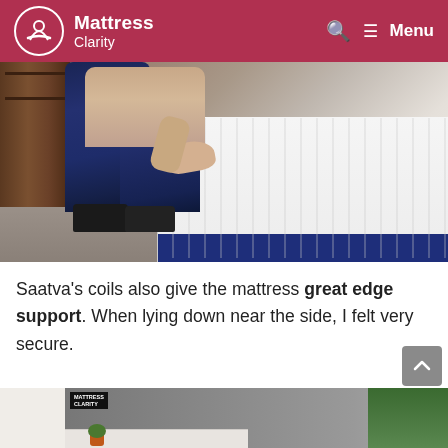Mattress Clarity
[Figure (photo): Person sitting on edge of a mattress wearing dark jeans, pressing hand on the mattress surface. White mattress with navy blue base visible. Dark wood dresser in background.]
Saatva's coils also give the mattress great edge support. When lying down near the side, I felt very secure.
[Figure (photo): Partial view of person lying on mattress, with a plant visible in the background and a Mattress Clarity logo/label in the upper left corner.]